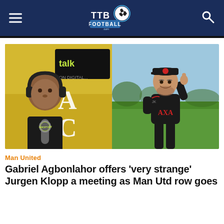TTB Football
[Figure (photo): Split image: left side shows Gabriel Agbonlahor wearing headphones and speaking into a talkSPORT microphone in a studio; right side shows Jurgen Klopp in a black Liverpool AXA training jacket, smiling and pointing upward with one finger.]
Man United
Gabriel Agbonlahor offers 'very strange' Jurgen Klopp a meeting as Man Utd row goes